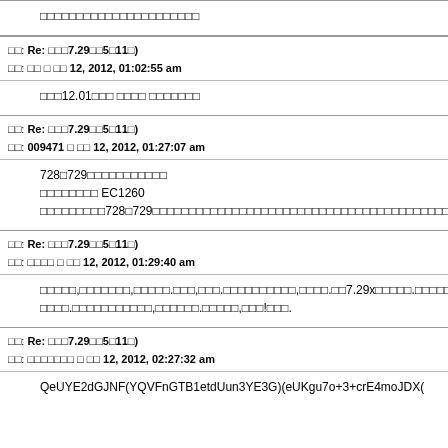□□□□□□□□□□□□□□□□□□□□□□
□□: Re: □□□7.29□□5□11□)
□□: □□ □ □□ 12, 2012, 01:02:55 am
□□□12.01□□□ □□□□ □□□□□□□
□□: Re: □□□7.29□□5□11□)
□□: 009471 □ □□ 12, 2012, 01:27:07 am
728□729□□□□□□□□□□□
□□□□□□□□ EC1260 □□□□□□□□□728□729□□□□□□□□□□□□□□□□□□□□□□□□□□□□□□□□□□□□□□□□□□□□□□□□□□□□□□□□□□□728□729□□□□□□□□□□□
□□: Re: □□□7.29□□5□11□)
□□: □□□□ □ □□ 12, 2012, 01:29:40 am
□□□□□,□□□□□□□,□□□□□.□□□,□□□.□□□□□□□□□□,□□□□.□□7.29x□□□□□.□□□□□□□□□□□□□,□□□□□□
□□□□.□□□□□□□□□□□,□□□□□□.□□□□□,□□□!□□□.
□□: Re: □□□7.29□□5□11□)
□□: □□□□□□□ □ □□ 12, 2012, 02:27:32 am
QeUYE2dGJNF(YQVFnGTB1etdUun3YE3G)(eUKgu7o+3+crE4moJDX(